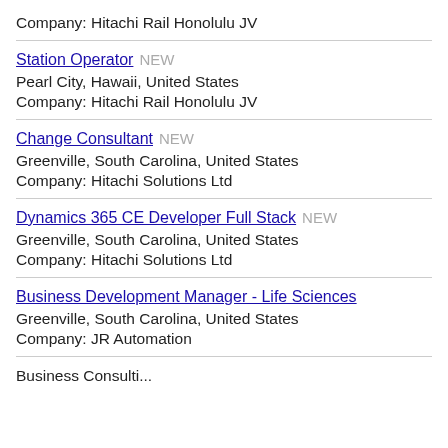Company: Hitachi Rail Honolulu JV
Station Operator NEW
Pearl City, Hawaii, United States
Company: Hitachi Rail Honolulu JV
Change Consultant NEW
Greenville, South Carolina, United States
Company: Hitachi Solutions Ltd
Dynamics 365 CE Developer Full Stack NEW
Greenville, South Carolina, United States
Company: Hitachi Solutions Ltd
Business Development Manager - Life Sciences
Greenville, South Carolina, United States
Company: JR Automation
Business Consulti...